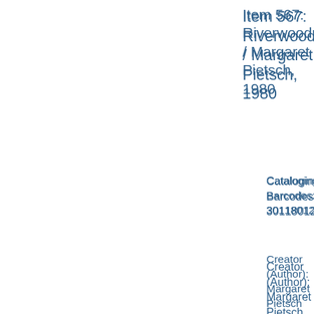Item 567: Riverwood / Margaret Pietsch, 1980
Cataloging-Barcodes: 30118012877
Creator (Author): Margaret Pietsch
Item 568: Critical Review of 'Man in God's World' / Joseph Pickle, 1964
Creator (Author): Joseph Pickle